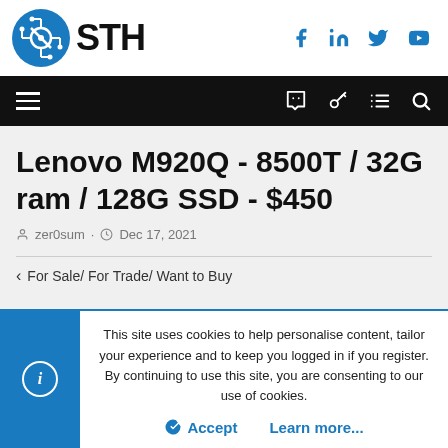[Figure (logo): STH (ServeTheHome) logo with circuit board icon in blue circle and STH text]
[Figure (other): Social media icons: Facebook, LinkedIn, Twitter, YouTube in blue]
[Figure (other): Navigation bar with hamburger menu on left and key, document, search icons on right]
Lenovo M920Q - 8500T / 32G ram / 128G SSD - $450
zer0sum · Dec 17, 2021
< For Sale/ For Trade/ Want to Buy
This site uses cookies to help personalise content, tailor your experience and to keep you logged in if you register.
By continuing to use this site, you are consenting to our use of cookies.
Accept   Learn more...